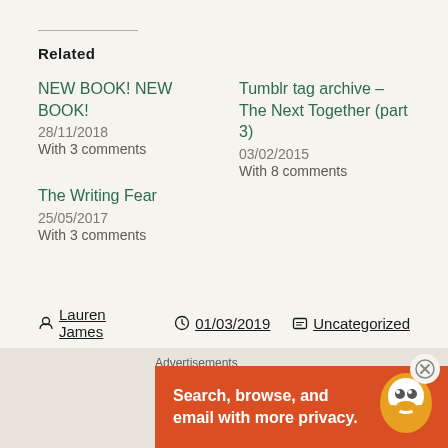Related
NEW BOOK! NEW BOOK!
28/11/2018
With 3 comments
Tumblr tag archive – The Next Together (part 3)
03/02/2015
With 8 comments
The Writing Fear
25/05/2017
With 3 comments
Lauren James  01/03/2019  Uncategorized
Advertisements
Search, browse, and email with more privacy.